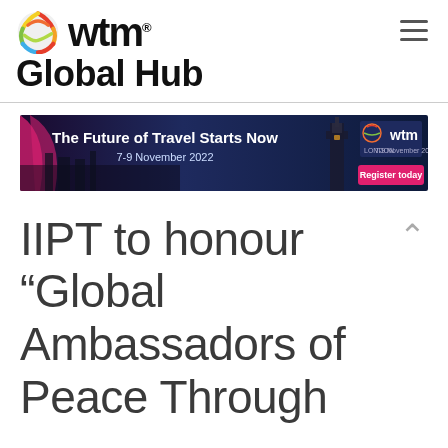[Figure (logo): WTM Global Hub logo with colorful globe icon and 'wtm' wordmark, plus 'Global Hub' text below]
[Figure (infographic): WTM London 2022 banner ad. Dark background with Big Ben image. Text reads: 'The Future of Travel Starts Now / 7-9 November 2022 / Register today'. WTM logo on right side with magenta 'Register today' button.]
IIPT to honour “Global Ambassadors of Peace Through...